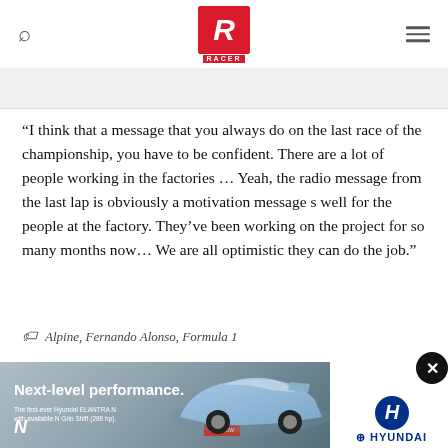RACER
“I think that a message that you always do on the last race of the championship, you have to be confident. There are a lot of people working in the factories … Yeah, the radio message from the last lap is obviously a motivation message s well for the people at the factory. They’ve been working on the project for so many months now… We are all optimistic they can do the job.”
Alpine, Fernando Alonso, Formula 1
[Figure (photo): Hyundai Elantra N advertisement with text 'Next-level performance. The first-ever Hyundai ELANTRA N with available N Grin Shift (286 hp).' showing a blue car on a racetrack, with Hyundai logo and N logo.]